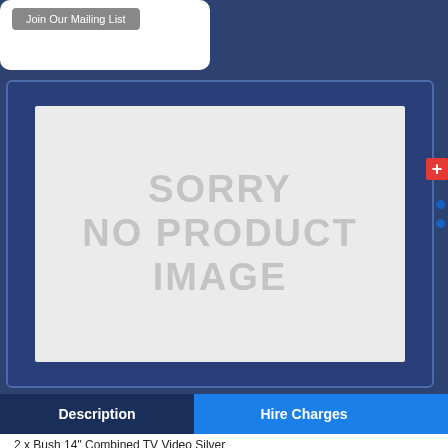[Figure (screenshot): Join Our Mailing List button on white rounded card]
[Figure (other): Product image placeholder showing SORRY NO PRODUCT IMAGE text on grey background inside a dark blue bordered panel]
Description
Hire Charges
2 x Bush 14" Combined TV Video Silver
Philips 14" Combined TV Video Black